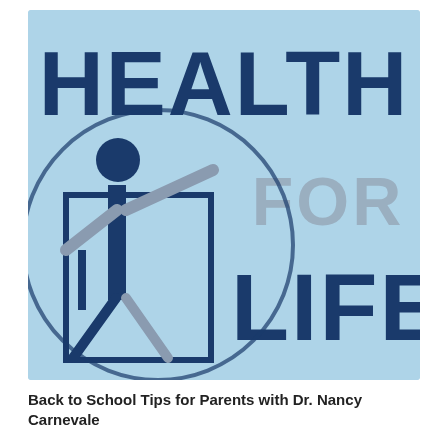[Figure (logo): Health for Life logo: light blue square background with large bold dark navy 'HEALTH' text at top, grey italic 'FOR' text in middle right, large dark navy 'LIFE' text at bottom right, and a stylized Vitruvian-man figure in dark navy with grey/silver circular arc overlay on the left side.]
Back to School Tips for Parents with Dr. Nancy Carnevale